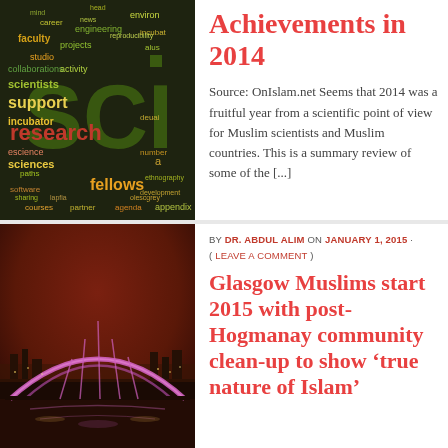[Figure (illustration): Word cloud with science-related words like faculty, support, research, sciences, fellows, projects, incubator, software, engineering, reproducibility, career, environment, etc. Green, red/orange, yellow colored text on dark background with large 'SCI' text in dark green.]
Achievements in 2014
Source: OnIslam.net Seems that 2014 was a fruitful year from a scientific point of view for Muslim scientists and Muslim countries. This is a summary review of some of the [...]
[Figure (photo): Night photo of Glasgow cityscape with a large illuminated arch bridge (Clyde Arc) in pink/purple light, against a dark red-brown sky with city lights reflected on water.]
BY DR. ABDUL ALIM ON JANUARY 1, 2015 · ( LEAVE A COMMENT )
Glasgow Muslims start 2015 with post-Hogmanay community clean-up to show ‘true nature of Islam’